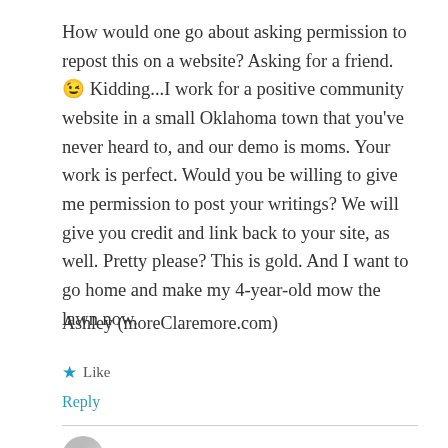How would one go about asking permission to repost this on a website? Asking for a friend. 😉 Kidding...I work for a positive community website in a small Oklahoma town that you've never heard to, and our demo is moms. Your work is perfect. Would you be willing to give me permission to post your writings? We will give you credit and link back to your site, as well. Pretty please? This is gold. And I want to go home and make my 4-year-old mow the lawn now.
Ashley (moreClaremore.com)
★ Like
Reply